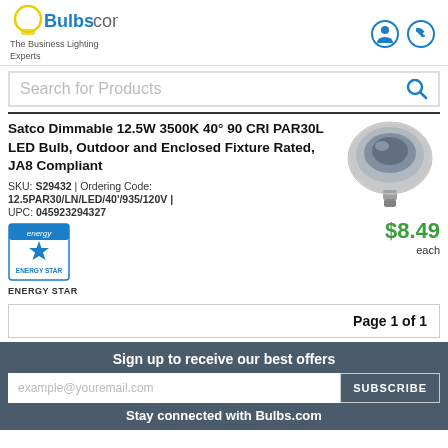Bulbs.com — The Business Lighting Experts
Search for Products
Satco Dimmable 12.5W 3500K 40° 90 CRI PAR30L LED Bulb, Outdoor and Enclosed Fixture Rated, JA8 Compliant
SKU: S29432 | Ordering Code: 12.5PAR30/LN/LED/40'/935/120V | UPC: 045923294327
[Figure (photo): PAR30L LED bulb product photo, silver/metallic finish]
$8.49 each
[Figure (logo): ENERGY STAR logo badge]
ENERGY STAR
Page 1 of 1
Sign up to receive our best offers
example@youremail.com
SUBSCRIBE
Stay connected with Bulbs.com